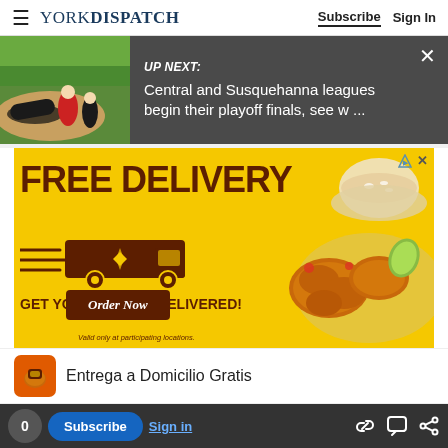YORK DISPATCH | Subscribe | Sign In
[Figure (screenshot): Up Next banner with baseball image on left showing players sliding/fielding on a green field, dark gray background on right with text: UP NEXT: Central and Susquehanna leagues begin their playoff finals, see w ... and an X close button]
[Figure (photo): Advertisement: FREE DELIVERY - GET YOUR FLAVOR DELIVERED! Order Now. Valid only at participating locations. Yellow background with brown delivery truck graphic and food photography (fried chicken and rice bowl) on the right side.]
Entrega a Domicilio Gratis
Pollo Campero
Herndon 10AM-10PM
0 | Subscribe | Sign in | [link icon] [comment icon] [share icon]